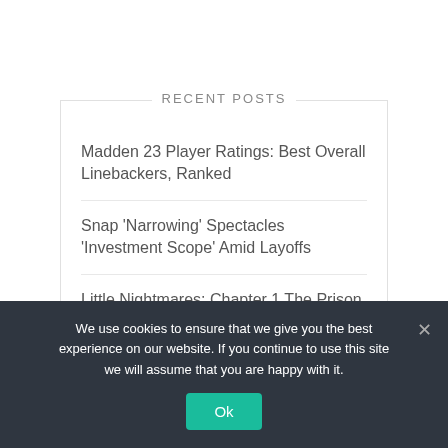RECENT POSTS
Madden 23 Player Ratings: Best Overall Linebackers, Ranked
Snap 'Narrowing' Spectacles 'Investment Scope' Amid Layoffs
Little Nightmares: Chapter 1 The Prison Complete Walkthrough
We use cookies to ensure that we give you the best experience on our website. If you continue to use this site we will assume that you are happy with it.